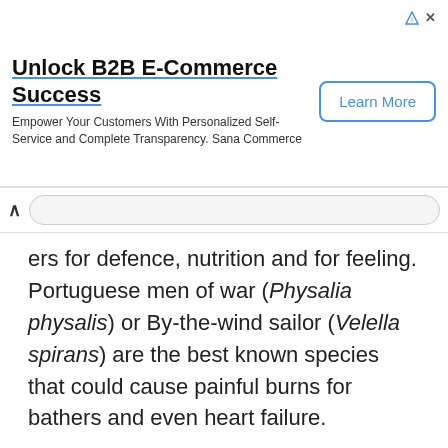[Figure (screenshot): Advertisement banner: 'Unlock B2B E-Commerce Success' with subtitle 'Empower Your Customers With Personalized Self-Service and Complete Transparency. Sana Commerce' and a 'Learn More' button]
ers for defence, nutrition and for feeling. Portuguese men of war (Physalia physalis) or By-the-wind sailor (Velella spirans) are the best known species that could cause painful burns for bathers and even heart failure.
The class of Scyphozoa
This group is known as true jellyfish. Normally, they are great marine jellyfish having very short